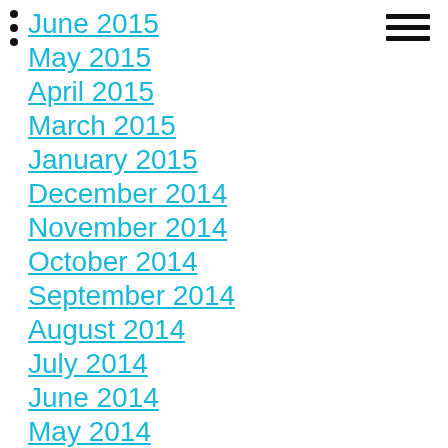June 2015
May 2015
April 2015
March 2015
January 2015
December 2014
November 2014
October 2014
September 2014
August 2014
July 2014
June 2014
May 2014
April 2014
March 2014
February 2014